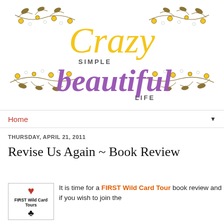[Figure (logo): Crazy Simple Beautiful Life blog logo with floral decorations, script typography in yellow and purple]
Home ▼
THURSDAY, APRIL 21, 2011
Revise Us Again ~ Book Review
[Figure (logo): FIRST Wild Card Tours badge with heart and club symbols]
It is time for a FIRST Wild Card Tour